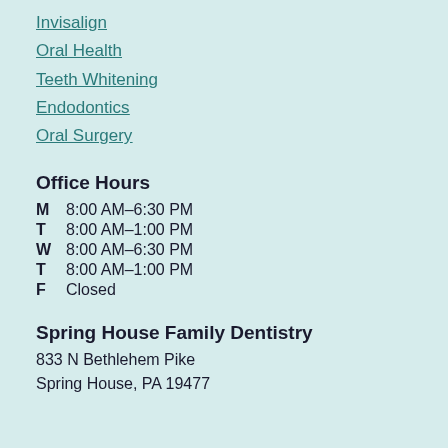Invisalign
Oral Health
Teeth Whitening
Endodontics
Oral Surgery
Office Hours
| Day | Hours |
| --- | --- |
| M | 8:00 AM–6:30 PM |
| T | 8:00 AM–1:00 PM |
| W | 8:00 AM–6:30 PM |
| T | 8:00 AM–1:00 PM |
| F | Closed |
Spring House Family Dentistry
833 N Bethlehem Pike
Spring House, PA 19477